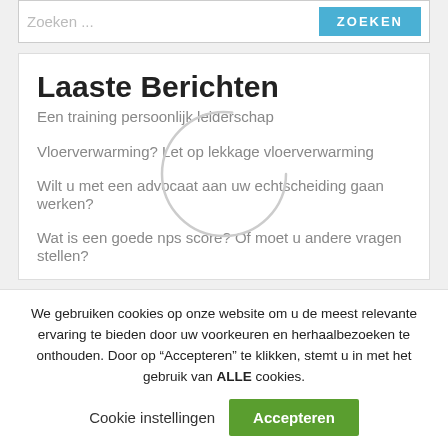Zoeken...
Laaste Berichten
Een training persoonlijk leiderschap
Vloerverwarming? Let op lekkage vloerverwarming
Wilt u met een advocaat aan uw echtscheiding gaan werken?
Wat is een goede nps score? Of moet u andere vragen stellen?
We gebruiken cookies op onze website om u de meest relevante ervaring te bieden door uw voorkeuren en herhaalbezoeken te onthouden. Door op “Accepteren” te klikken, stemt u in met het gebruik van ALLE cookies.
Cookie instellingen | Accepteren